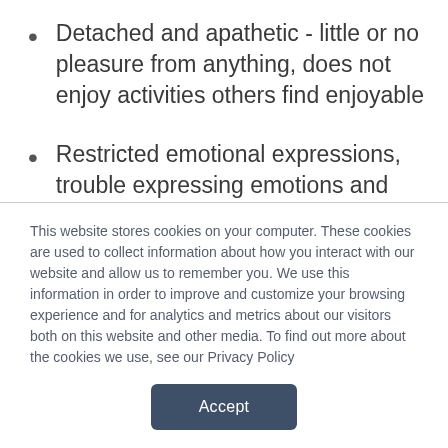Detached and apathetic - little or no pleasure from anything, does not enjoy activities others find enjoyable
Restricted emotional expressions, trouble expressing emotions and reacting appropriate to emotional situations
Prefer to be alone rather than spending time with others, social withdrawal is voluntary - isolated,
This website stores cookies on your computer. These cookies are used to collect information about how you interact with our website and allow us to remember you. We use this information in order to improve and customize your browsing experience and for analytics and metrics about our visitors both on this website and other media. To find out more about the cookies we use, see our Privacy Policy
Accept